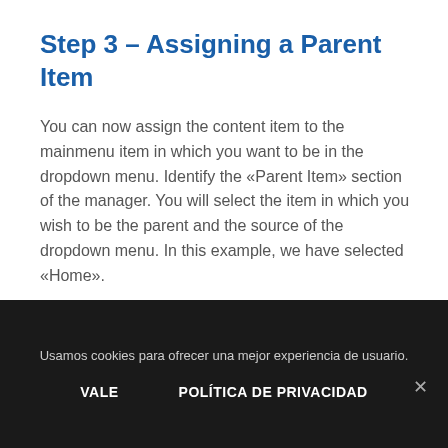Step 3 – Assigning a Parent Item
You can now assign the content item to the mainmenu item in which you want to be in the dropdown menu. Identify the «Parent Item» section of the manager. You will select the item in which you wish to be the parent and the source of the dropdown menu. In this example, we have selected «Home».
Usamos cookies para ofrecer una mejor experiencia de usuario.
VALE
POLÍTICA DE PRIVACIDAD